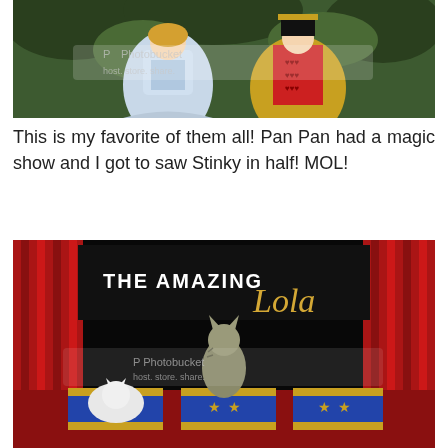[Figure (photo): Photo of Alice in Wonderland and Queen of Hearts costume figurines or cardboard cutouts in a forest/garden setting, with a Photobucket watermark overlay.]
This is my favorite of them all! Pan Pan had a magic show and I got to saw Stinky in half! MOL!
[Figure (photo): Photo of a magic show stage with text 'THE AMAZING Lola' and a cat on a red stage with blue and yellow magic boxes decorated with stars. A white fluffy cat is in one of the boxes. Photobucket watermark visible.]